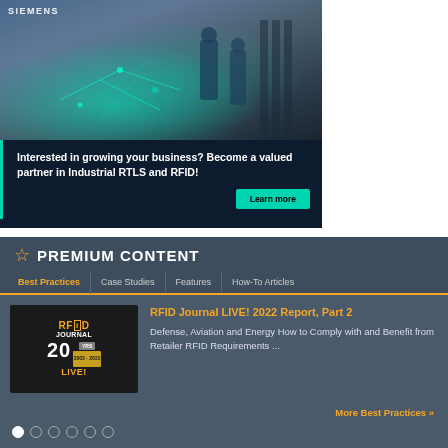[Figure (photo): Siemens advertisement banner showing a warehouse/industrial facility with workers in blue uniforms, green glowing network/RTLS visualization overlay on dark blue background]
Interested in growing your business? Become a valued partner in Industrial RTLS and RFID!
Learn more
PREMIUM CONTENT
Best Practices
Case Studies
Features
How-To Articles
[Figure (logo): RFID Journal LIVE! 20 Years (2003-2022) logo on dark background]
RFID Journal LIVE! 2022 Report, Part 2
Defense, Aviation and Energy How to Comply with and Benefit from Retailer RFID Requirements ...
More Best Practices »
○ ○ ○ ○ ○